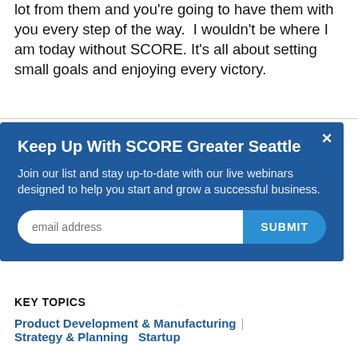lot from them and you're going to have them with you every step of the way.  I wouldn't be where I am today without SCORE. It's all about setting small goals and enjoying every victory.
[Figure (other): Modal popup overlay with dark blue background. Contains title 'Keep Up With SCORE Greater Seattle', descriptive text about joining list for live webinars, an email input field, and a SUBMIT button. Close button (×) in top-right corner.]
KEY TOPICS
Product Development & Manufacturing | Strategy & Planning    Startup